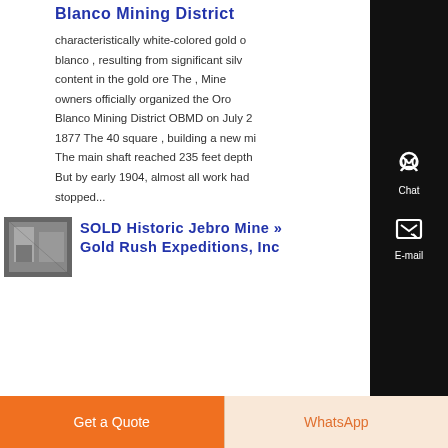Blanco Mining District
characteristically white-colored gold o blanco , resulting from significant silv content in the gold ore The , Mine owners officially organized the Oro Blanco Mining District OBMD on July 2 1877 The 40 square , building a new mi The main shaft reached 235 feet depth But by early 1904, almost all work had stopped...
[Figure (photo): Thumbnail photo of Historic Jebro Mine interior]
SOLD Historic Jebro Mine » Gold Rush Expeditions, Inc